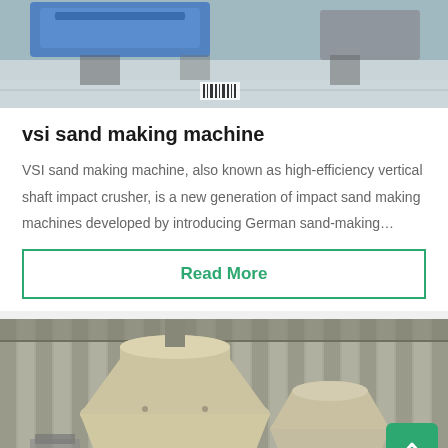[Figure (photo): Top portion of VSI sand making machine in industrial facility, blue machinery visible, concrete floor]
vsi sand making machine
VSI sand making machine, also known as high-efficiency vertical shaft impact crusher, is a new generation of impact sand making machines developed by introducing German sand-making…
Read More
[Figure (photo): Cone crusher machine with beige/cream colored conical parts inside industrial shed with corrugated metal walls]
Leave Message
Chat Online